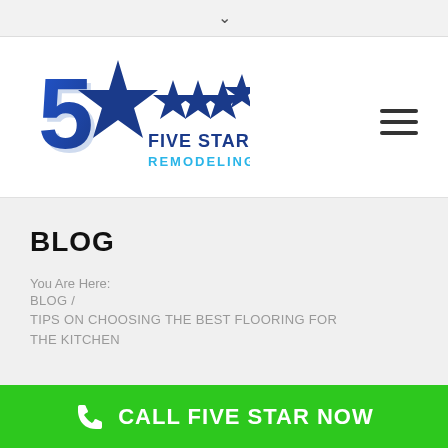∨
[Figure (logo): Five Star Remodeling logo with a large blue '5' and star, followed by four additional stars, and text 'FIVE STAR REMODELING' in blue and light blue.]
BLOG
You Are Here:
BLOG /
TIPS ON CHOOSING THE BEST FLOORING FOR THE KITCHEN
CALL FIVE STAR NOW